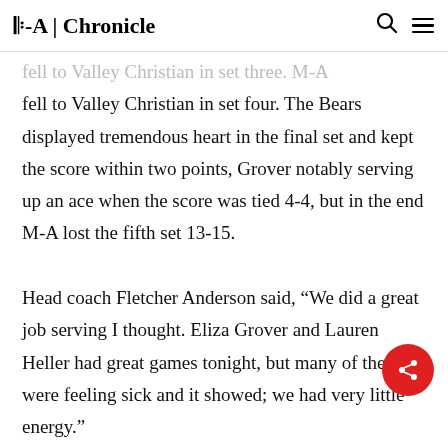M-A | Chronicle
fell to Valley Christian in set four. The Bears displayed tremendous heart in the final set and kept the score within two points, Grover notably serving up an ace when the score was tied 4-4, but in the end M-A lost the fifth set 13-15.

Head coach Fletcher Anderson said, “We did a great job serving I thought. Eliza Grover and Lauren Heller had great games tonight, but many of the girls were feeling sick and it showed; we had very little energy.”